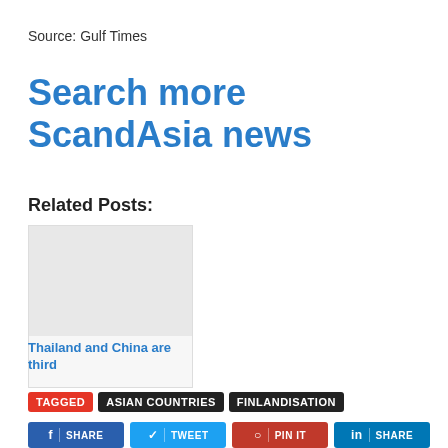Source: Gulf Times
Search more ScandAsia news
Related Posts:
[Figure (photo): Thumbnail image placeholder for related post card]
Thailand and China are third
TAGGED  ASIAN COUNTRIES  FINLANDISATION
SHARE  TWEET  PIN IT  SHARE